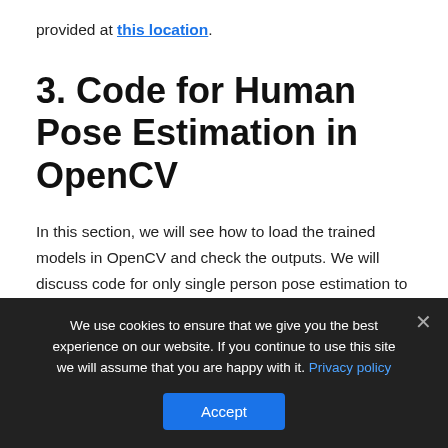provided at this location.
3. Code for Human Pose Estimation in OpenCV
In this section, we will see how to load the trained models in OpenCV and check the outputs. We will discuss code for only single person pose estimation to keep things simple. As we saw in the previous section that the output consists of confidence maps and affinity maps. These outputs can be used to find the pose for every person in a frame if
We use cookies to ensure that we give you the best experience on our website. If you continue to use this site we will assume that you are happy with it. Privacy policy